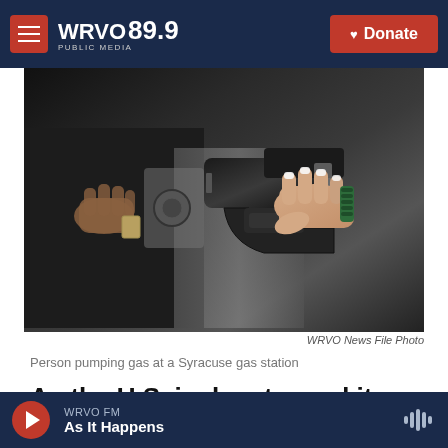WRVO 89.9 PUBLIC MEDIA — Donate
[Figure (photo): Close-up photo of a person's hand with white-painted fingernails and a green bracelet holding a black gas pump nozzle at a gas station. Another hand is visible in the background.]
WRVO News File Photo
Person pumping gas at a Syracuse gas station
As the U.S. inches toward its goal of net-zero
WRVO FM — As It Happens